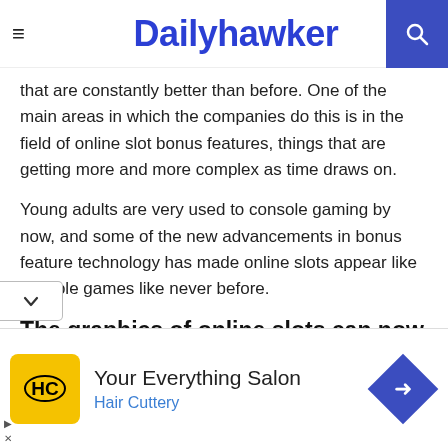Dailyhawker
that are constantly better than before. One of the main areas in which the companies do this is in the field of online slot bonus features, things that are getting more and more complex as time draws on.
Young adults are very used to console gaming by now, and some of the new advancements in bonus feature technology has made online slots appear like console games like never before.
The graphics of online slots can now rival other console games
[Figure (other): Advertisement banner for Your Everything Salon - Hair Cuttery with yellow HC logo and blue navigation diamond icon]